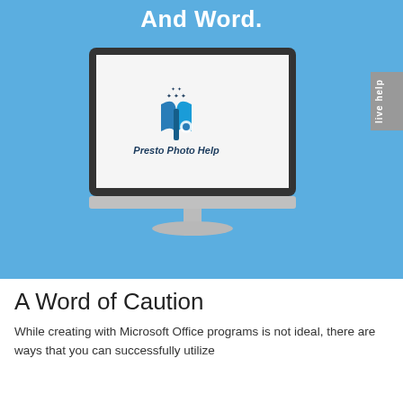And Word.
[Figure (screenshot): iMac computer displaying Presto Photo Help logo — a blue open book with stars above it and a camera lens, with text 'Presto Photo Help' in dark blue italic bold font. Screen is white. Monitor is silver/dark gray. Blue background behind monitor.]
[Figure (other): Live help tab on right side — gray vertical tab with 'live help' text rotated.]
A Word of Caution
While creating with Microsoft Office programs is not ideal, there are ways that you can successfully utilize